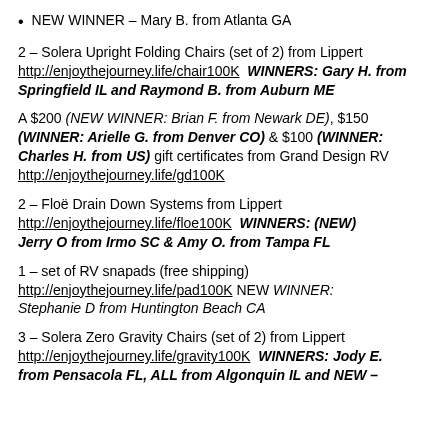NEW WINNER – Mary B. from Atlanta GA
2 – Solera Upright Folding Chairs (set of 2) from Lippert http://enjoythejourney.life/chair100K  WINNERS: Gary H. from Springfield IL and Raymond B. from Auburn ME
A $200 (NEW WINNER: Brian F. from Newark DE), $150 (WINNER: Arielle G. from Denver CO) & $100 (WINNER: Charles H. from US) gift certificates from Grand Design RV http://enjoythejourney.life/gd100K
2 – Floë Drain Down Systems from Lippert http://enjoythejourney.life/floe100K  WINNERS: (NEW) Jerry O from Irmo SC & Amy O. from Tampa FL
1 – set of RV snapads (free shipping) http://enjoythejourney.life/pad100K NEW WINNER: Stephanie D from Huntington Beach CA
3 – Solera Zero Gravity Chairs (set of 2) from Lippert http://enjoythejourney.life/gravity100K  WINNERS: Jody E. from Pensacola FL, AL from Algonquin IL and NEW –